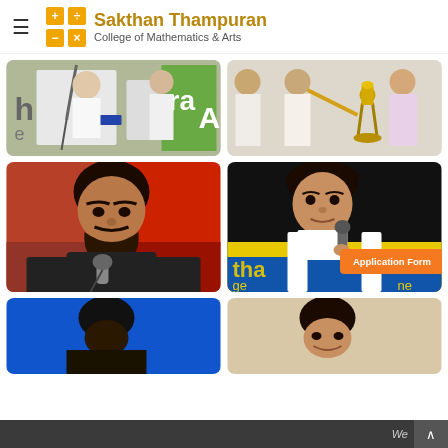Sakthan Thampuran College of Mathematics & Arts
[Figure (photo): Person at podium with microphone outdoors event, partial view]
[Figure (photo): People in traditional Kerala attire with lamp, ceremony]
[Figure (photo): Man with beard and mustache speaking at microphone, dark shirt]
[Figure (photo): Young man speaking into microphone, college event banner visible, Application Form button overlay]
[Figure (photo): Person against blue background, partially visible]
[Figure (photo): Smiling person, partially visible]